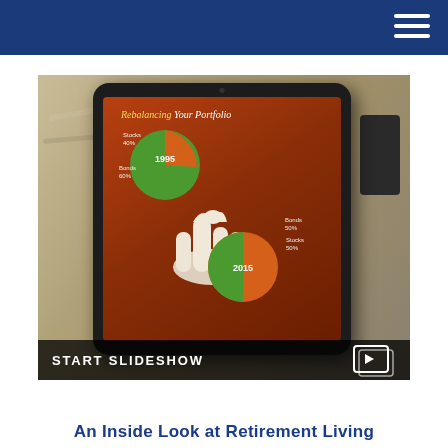[Figure (photo): Tablet device showing a 'Rebalancing Your Portfolio' infographic with two pie charts comparing 1995 (Stocks 40%, Bonds 60%) and 2015 (Bonds 50%, Stocks 50%) portfolio allocations, displayed on a cloth bag background. Below the image is a 'START SLIDESHOW' bar with a slideshow icon.]
An Inside Look at Retirement Living